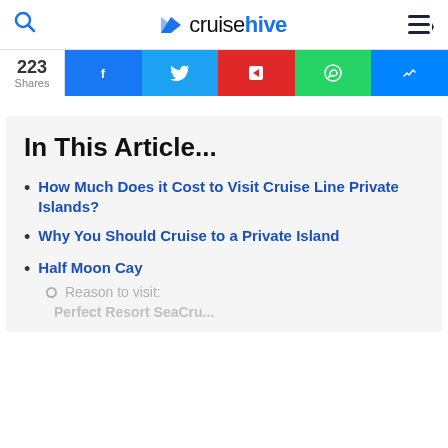cruisehive
223 Shares
In This Article...
How Much Does it Cost to Visit Cruise Line Private Islands?
Why You Should Cruise to a Private Island
Half Moon Cay
Reason to visit:
Perfect Resort SeaCru...